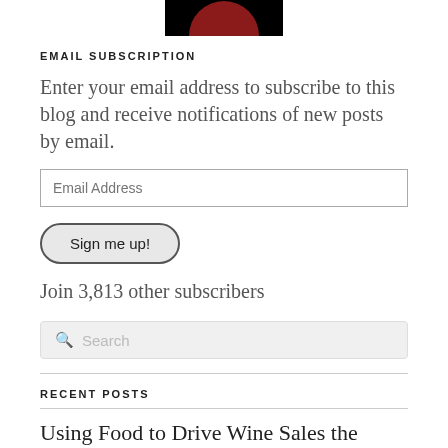[Figure (logo): Blog logo: dark background with red circle partially visible at top, cropped]
EMAIL SUBSCRIPTION
Enter your email address to subscribe to this blog and receive notifications of new posts by email.
Email Address
Sign me up!
Join 3,813 other subscribers
Search
RECENT POSTS
Using Food to Drive Wine Sales the Italian Way